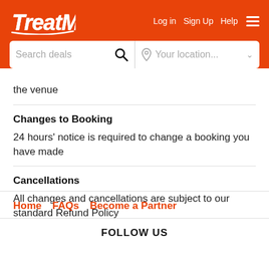TreatMe — Log in  Sign Up  Help
the venue
Changes to Booking
24 hours' notice is required to change a booking you have made
Cancellations
All changes and cancellations are subject to our standard Refund Policy
Home  FAQs  Become a Partner
FOLLOW US